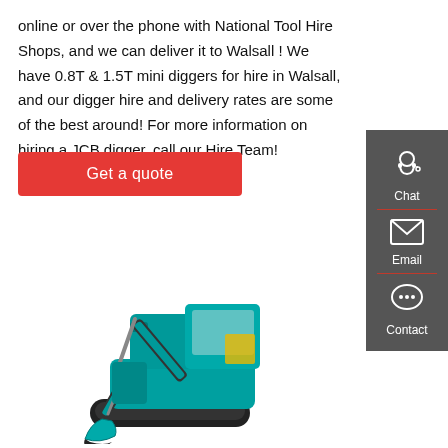online or over the phone with National Tool Hire Shops, and we can deliver it to Walsall ! We have 0.8T & 1.5T mini diggers for hire in Walsall, and our digger hire and delivery rates are some of the best around! For more information on hiring a JCB digger, call our Hire Team!
Get a quote
[Figure (infographic): Dark grey sidebar with three contact options: Chat (headset icon), Email (envelope icon), Contact (speech bubble icon), separated by red dividers]
[Figure (photo): A teal/turquoise mini excavator (digger) on a white background, showing the arm, bucket, cab, and tracks]